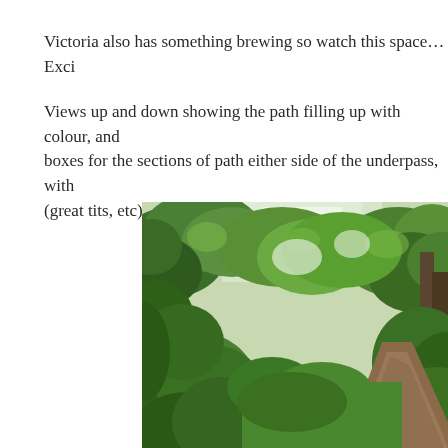Victoria also has something brewing so watch this space… Exci
Views up and down showing the path filling up with colour, and boxes for the sections of path either side of the underpass, with (great tits, etc) hole protectors to keep the predators at bay.
[Figure (photo): A green lush path through woodland/nature reserve, with dense green vegetation on both sides and trees overhead, a narrow dirt path visible on the right side.]